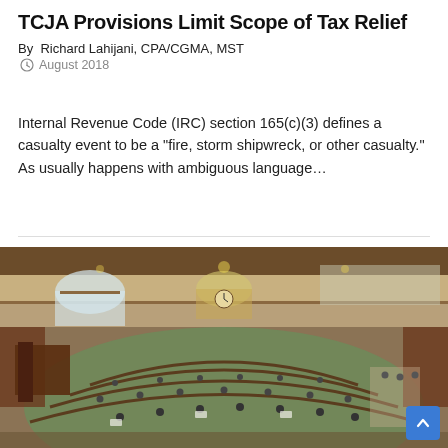TCJA Provisions Limit Scope of Tax Relief
By Richard Lahijani, CPA/CGMA, MST
August 2018
Internal Revenue Code (IRC) section 165(c)(3) defines a casualty event to be a “fire, storm shipwreck, or other casualty.” As usually happens with ambiguous language…
[Figure (photo): Aerial view of a legislative chamber (likely a state capitol building) showing semicircular rows of desks with legislators seated, ornate architecture with arched windows, balconies, and chandeliers.]